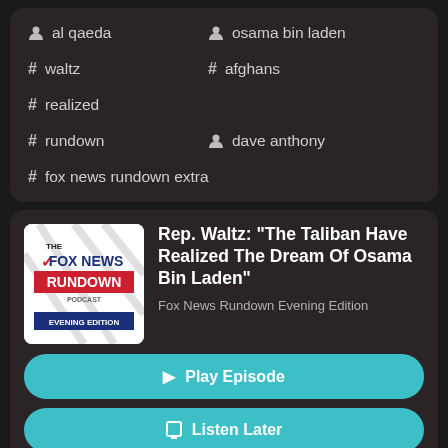al qaeda
osama bin laden
waltz
afghans
realized
rundown
dave anthony
fox news rundown extra
[Figure (logo): Fox News Rundown Podcast Evening Edition logo]
Rep. Waltz: "The Taliban Have Realized The Dream Of Osama Bin Laden"
Fox News Rundown Evening Edition
Play Episode
Listen Later
Aug 20, 2022
22:58